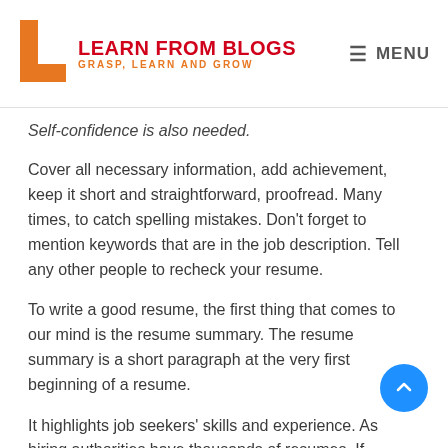LEARN FROM BLOGS — GRASP, LEARN AND GROW | MENU
Self-confidence is also needed.
Cover all necessary information, add achievement, keep it short and straightforward, proofread. Many times, to catch spelling mistakes. Don't forget to mention keywords that are in the job description. Tell any other people to recheck your resume.
To write a good resume, the first thing that comes to our mind is the resume summary. The resume summary is a short paragraph at the very first beginning of a resume.
It highlights job seekers' skills and experience. As hiring authorities have thousands of resumes. If